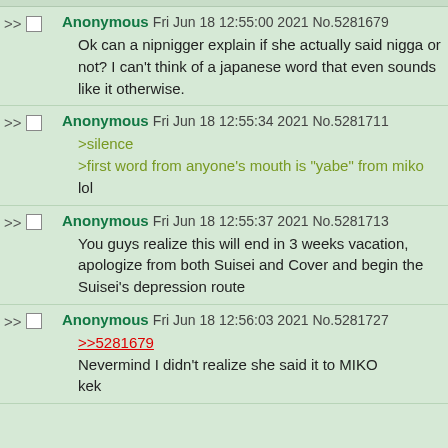Anonymous Fri Jun 18 12:55:00 2021 No.5281679
Ok can a nipnigger explain if she actually said nigga or not? I can't think of a japanese word that even sounds like it otherwise.
Anonymous Fri Jun 18 12:55:34 2021 No.5281711
>silence
>first word from anyone's mouth is "yabe" from miko
lol
Anonymous Fri Jun 18 12:55:37 2021 No.5281713
You guys realize this will end in 3 weeks vacation, apologize from both Suisei and Cover and begin the Suisei's depression route
Anonymous Fri Jun 18 12:56:03 2021 No.5281727
>>5281679
Nevermind I didn't realize she said it to MIKO
kek